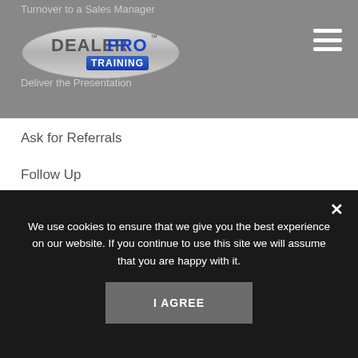Turnover to a Sales Manager
[Figure (logo): DealerPro Training logo with silver oval and blue PRO box]
Deliver the Presentation
Ask for Referrals
Follow Up
These 12 steps have worked pretty well for your sales teams for decades now and will produce closing ratios in the range of 25% to 30% or even higher for top performers. Rest assured these same 12 steps will produce similar results for your Fixed Ops Sales Team and it's not
We use cookies to ensure that we give you the best experience on our website. If you continue to use this site we will assume that you are happy with it.